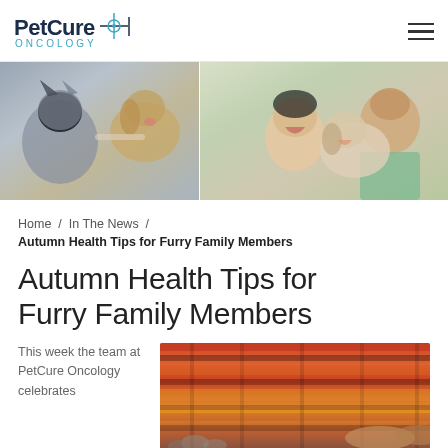[Figure (logo): PetCure Oncology logo with crosshair icon]
[Figure (photo): Hero banner showing a cat at vet, a golden retriever, a laughing child, and a man with a dog outdoors]
Home / In The News / Autumn Health Tips for Furry Family Members
Autumn Health Tips for Furry Family Members
This week the team at PetCure Oncology celebrates
[Figure (photo): Close-up of autumn blanket with colorful stripes and cat paws visible at bottom]